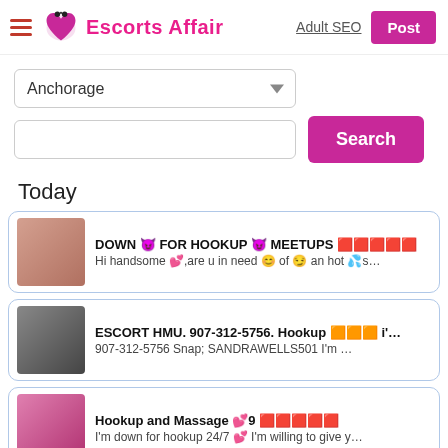Escorts Affair | Adult SEO | Post
Anchorage (dropdown) | Search (button)
Today
DOWN 😈 FOR HOOKUP 😈 MEETUPS 🟥🟥🟥🟥🟥 — Hi handsome 💕,are u in need 😊 of 😏 an hot 💦s…
ESCORT HMU. 907-312-5756. Hookup 🟧🟧🟧 i'… — 907-312-5756 Snap; SANDRAWELLS501 I'm …
Hookup and Massage 💕9 🟥🟥🟥🟥🟥 — I'm down for hookup 24/7 💕 I'm willing to give y…
I'M THE💋ULTIMATE GFE💋 I WON'T SAY NO T…